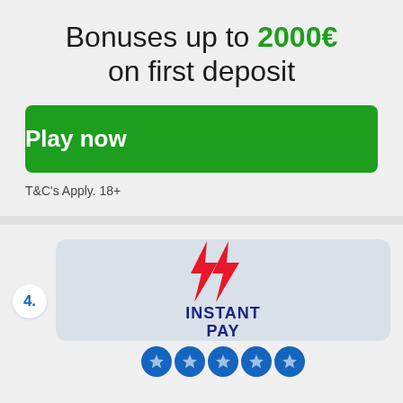Bonuses up to 2000€ on first deposit
Play now
T&C's Apply. 18+
4.
[Figure (logo): Instant Pay logo with red lightning bolt and dark blue INSTANT PAY text]
[Figure (other): Row of 5 blue star rating circles at bottom of page]